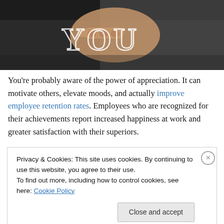[Figure (photo): A person in a dark suit pointing a finger toward the viewer, with large white serif letters 'YOU' overlaid on the image against a dark background.]
You're probably aware of the power of appreciation. It can motivate others, elevate moods, and actually improve employee retention rates. Employees who are recognized for their achievements report increased happiness at work and greater satisfaction with their superiors.
Privacy & Cookies: This site uses cookies. By continuing to use this website, you agree to their use.
To find out more, including how to control cookies, see here: Cookie Policy